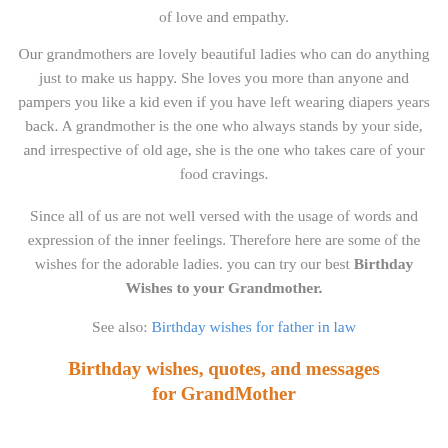of love and empathy.
Our grandmothers are lovely beautiful ladies who can do anything just to make us happy. She loves you more than anyone and pampers you like a kid even if you have left wearing diapers years back. A grandmother is the one who always stands by your side, and irrespective of old age, she is the one who takes care of your food cravings.
Since all of us are not well versed with the usage of words and expression of the inner feelings. Therefore here are some of the wishes for the adorable ladies. you can try our best Birthday Wishes to your Grandmother.
See also: Birthday wishes for father in law
Birthday wishes, quotes, and messages for GrandMother